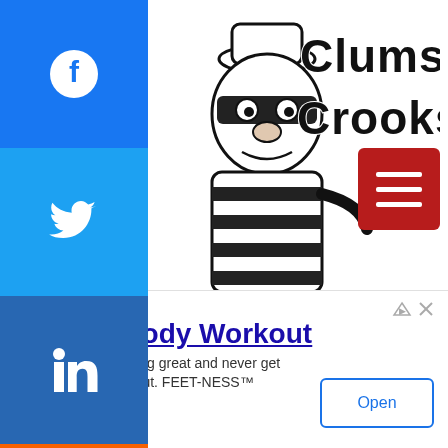[Figure (logo): Clumsy Crooks website logo with cartoon burglar character and stylized text 'Clumsy Crooks']
[Figure (infographic): Social media share buttons on left side: Facebook (blue), Twitter (blue), LinkedIn (dark blue), Mix (orange), Email (dark), and a collapse arrow button]
[Figure (other): Red hamburger menu button in top right]
inals as well as funny crime stories. ority mug shots and other true crime es.
ck Links
n The News
The full Body Workout
Fall in love with feeling great and never get bored with working out. FEET-NESS™